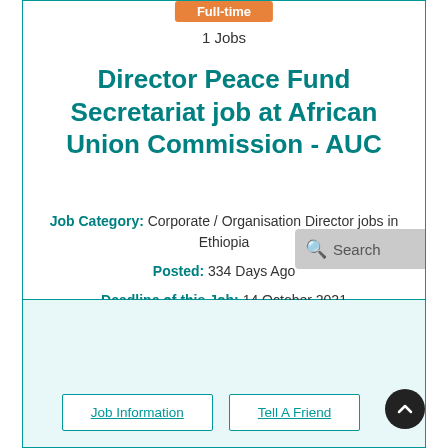[Figure (other): Orange Full-time badge/button at top center]
1 Jobs
Director Peace Fund Secretariat job at African Union Commission - AUC
Job Category: Corporate / Organisation Director jobs in Ethiopia
Posted: 334 Days Ago
Deadline of this Job: 14 October 2021
Duty Station: Addis Ababa
Job Information | Tell A Friend